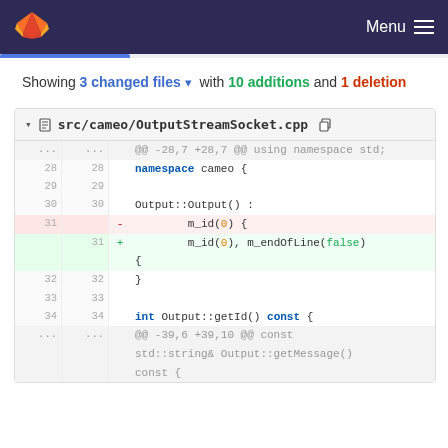GitLab navigation bar with logo and Menu
Showing 3 changed files with 10 additions and 1 deletion
[Figure (screenshot): Code diff view for src/cameo/OutputStreamSocket.cpp showing one deleted line (m_id(0) {) and one added line (m_id(0), m_endOfLine(false) {) around line 31, with context lines 28-34 and ellipsis context blocks.]